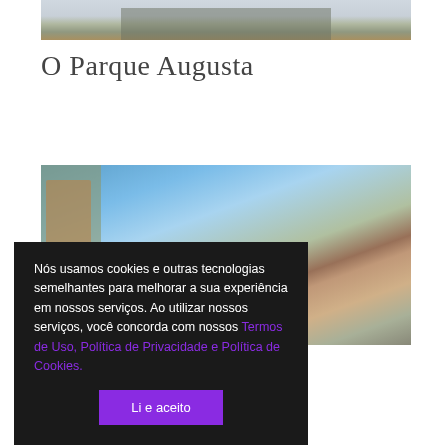[Figure (photo): Top portion of a building with windows and entrance, partially visible]
O Parque Augusta
[Figure (photo): Exterior view of low buildings with a blue sky background, showing rooftops and some vegetation]
Nós usamos cookies e outras tecnologias semelhantes para melhorar a sua experiência em nossos serviços. Ao utilizar nossos serviços, você concorda com nossos Termos de Uso, Política de Privacidade e Política de Cookies.
Li e aceito